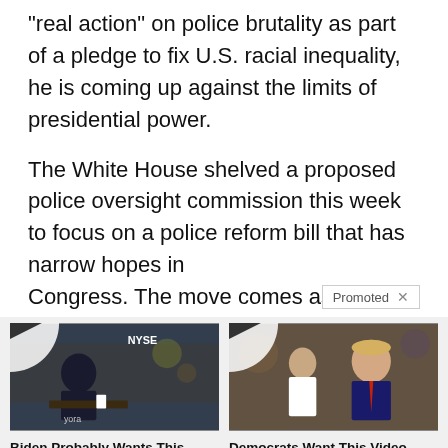“real action” on police brutality as part of a pledge to fix U.S. racial inequality, he is coming up against the limits of presidential power.
The White House shelved a proposed police oversight commission this week to focus on a police reform bill that has narrow hopes in Congress. The move comes as an… ver
[Figure (photo): Promoted ad thumbnail showing a man at what appears to be a NYSE broadcast desk]
Biden Probably Wants This Video Destroyed — US Dollar On Path Towards Replacement?
🔥 175,337
[Figure (photo): Promoted ad thumbnail showing a woman and Donald Trump]
Democrats Want This Video Destroyed — Watch Now Before It’s Banned
🔥 241,496